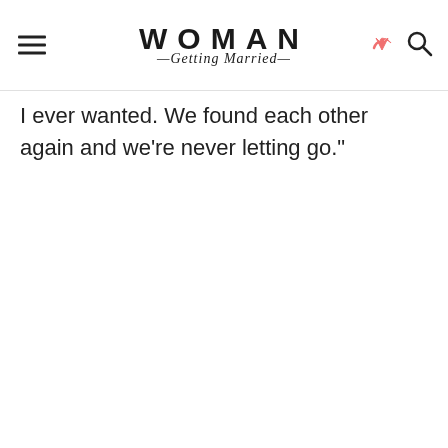WOMAN Getting Married
I ever wanted. We found each other again and we’re never letting go.”